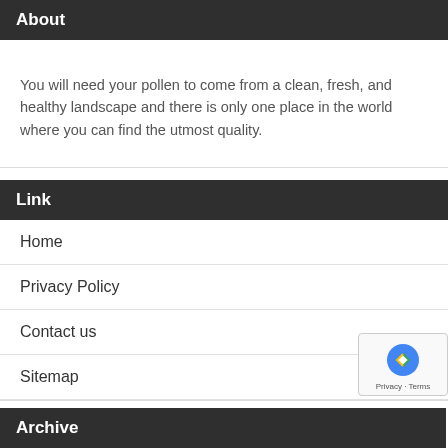About
You will need your pollen to come from a clean, fresh, and healthy landscape and there is only one place in the world where you can find the utmost quality.
Link
Home
Privacy Policy
Contact us
Sitemap
Archive